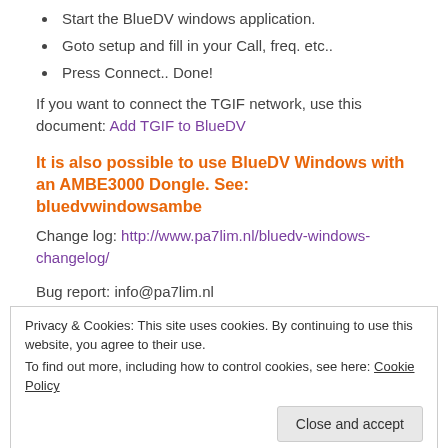Start the BlueDV windows application.
Goto setup and fill in your Call, freq. etc..
Press Connect.. Done!
If you want to connect the TGIF network, use this document: Add TGIF to BlueDV
It is also possible to use BlueDV Windows with an AMBE3000 Dongle. See: bluedvwindowsambe
Change log: http://www.pa7lim.nl/bluedv-windows-changelog/
Bug report: info@pa7lim.nl
Privacy & Cookies: This site uses cookies. By continuing to use this website, you agree to their use. To find out more, including how to control cookies, see here: Cookie Policy